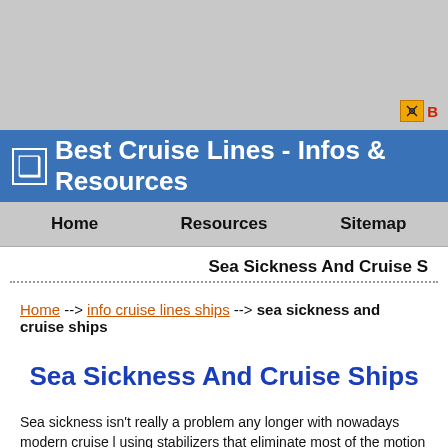Best Cruise Lines - Infos & Resources
Home | Resources | Sitemap
Sea Sickness And Cruise S
Home --> info cruise lines ships --> sea sickness and cruise ships
Sea Sickness And Cruise Ships
Sea sickness isn't really a problem any longer with nowadays modern cruise l... using stabilizers that eliminate most of the motion causing sea sickness. So, i... you won't even feel that you are at sea.
Here are a few tips if sea sickness is a problem for you:
* Travel with one of the modern mega-liners.